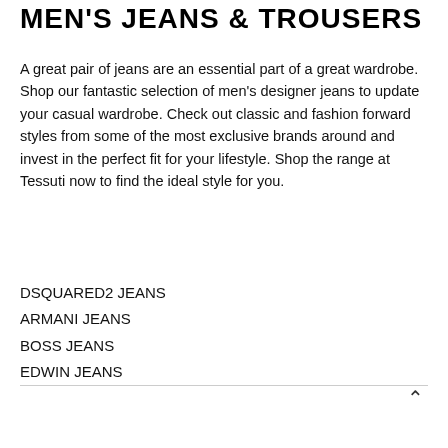MEN'S JEANS & TROUSERS
A great pair of jeans are an essential part of a great wardrobe. Shop our fantastic selection of men's designer jeans to update your casual wardrobe. Check out classic and fashion forward styles from some of the most exclusive brands around and invest in the perfect fit for your lifestyle. Shop the range at Tessuti now to find the ideal style for you.
DSQUARED2 JEANS
ARMANI JEANS
BOSS JEANS
EDWIN JEANS